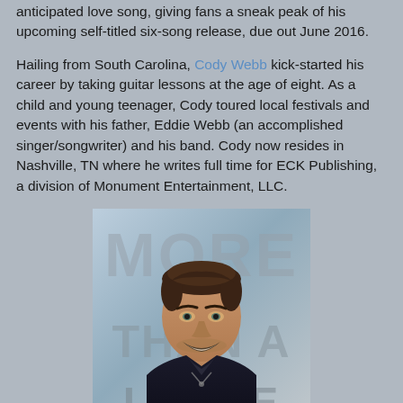anticipated love song, giving fans a sneak peak of his upcoming self-titled six-song release, due out June 2016.
Hailing from South Carolina, Cody Webb kick-started his career by taking guitar lessons at the age of eight. As a child and young teenager, Cody toured local festivals and events with his father, Eddie Webb (an accomplished singer/songwriter) and his band. Cody now resides in Nashville, TN where he writes full time for ECK Publishing, a division of Monument Entertainment, LLC.
[Figure (photo): Album cover or promotional image for 'More Than A Little' showing a smiling young man with dark hair and a dark jacket, with large semi-transparent text overlay reading MORE THAN A LITTLE]